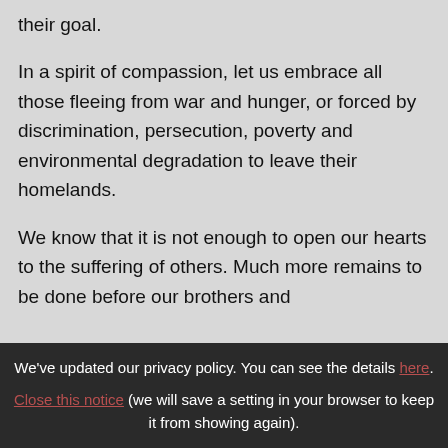their goal.

In a spirit of compassion, let us embrace all those fleeing from war and hunger, or forced by discrimination, persecution, poverty and environmental degradation to leave their homelands.

We know that it is not enough to open our hearts to the suffering of others. Much more remains to be done before our brothers and sisters...
We've updated our privacy policy. You can see the details here. Close this notice (we will save a setting in your browser to keep it from showing again).